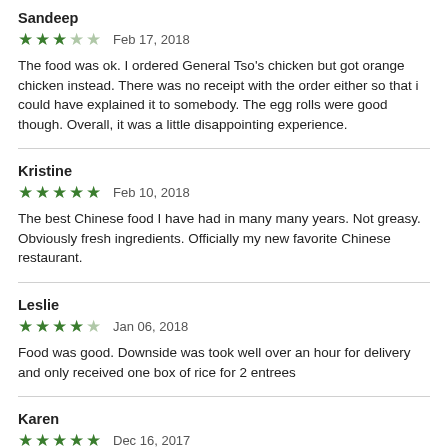Sandeep
★★★☆☆  Feb 17, 2018
The food was ok. I ordered General Tso's chicken but got orange chicken instead. There was no receipt with the order either so that i could have explained it to somebody. The egg rolls were good though. Overall, it was a little disappointing experience.
Kristine
★★★★★  Feb 10, 2018
The best Chinese food I have had in many many years. Not greasy. Obviously fresh ingredients. Officially my new favorite Chinese restaurant.
Leslie
★★★★☆  Jan 06, 2018
Food was good. Downside was took well over an hour for delivery and only received one box of rice for 2 entrees
Karen
★★★★★  Dec 16, 2017